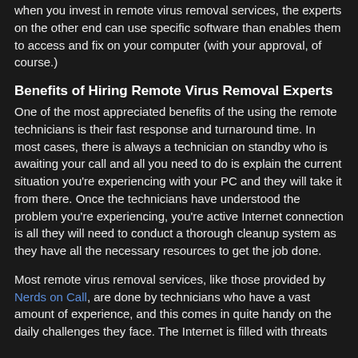when you invest in remote virus removal services, the experts on the other end can use specific software than enables them to access and fix on your computer (with your approval, of course.)
Benefits of Hiring Remote Virus Removal Experts
One of the most appreciated benefits of the using the remote technicians is their fast response and turnaround time. In most cases, there is always a technician on standby who is awaiting your call and all you need to do is explain the current situation you're experiencing with your PC and they will take it from there. Once the technicians have understood the problem you're experiencing, you're active Internet connection is all they will need to conduct a thorough cleanup system as they have all the necessary resources to get the job done.
Most remote virus removal services, like those provided by Nerds on Call, are done by technicians who have a vast amount of experience, and this comes in quite handy on the daily challenges they face. The Internet is filled with threats